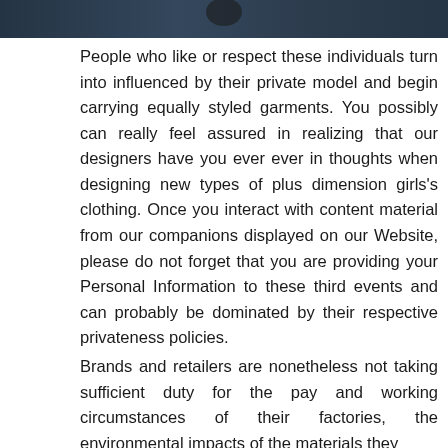[Figure (photo): Partial dark photographic image at top of page, dark blue-grey tones, appears to show a person or figure]
People who like or respect these individuals turn into influenced by their private model and begin carrying equally styled garments. You possibly can really feel assured in realizing that our designers have you ever ever in thoughts when designing new types of plus dimension girls's clothing. Once you interact with content material from our companions displayed on our Website, please do not forget that you are providing your Personal Information to these third events and can probably be dominated by their respective privateness policies.
Brands and retailers are nonetheless not taking sufficient duty for the pay and working circumstances of their factories, the environmental impacts of the materials they